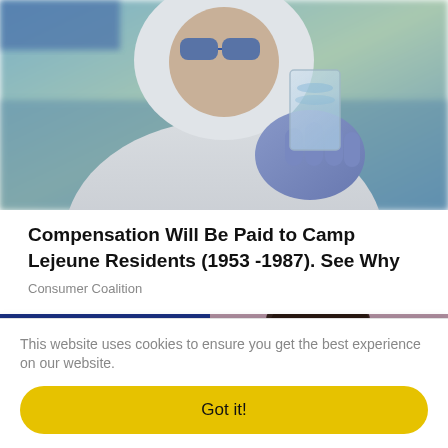[Figure (photo): Person in white hazmat suit and blue gloves holding a clear glass beaker of water toward camera, blurred outdoor background]
Compensation Will Be Paid to Camp Lejeune Residents (1953 -1987). See Why
Consumer Coalition
[Figure (screenshot): Partial image showing gaming/entertainment screen with colorful logo text 'CH SCOP OW ARE' and a person's face on the right side]
This website uses cookies to ensure you get the best experience on our website.
Got it!